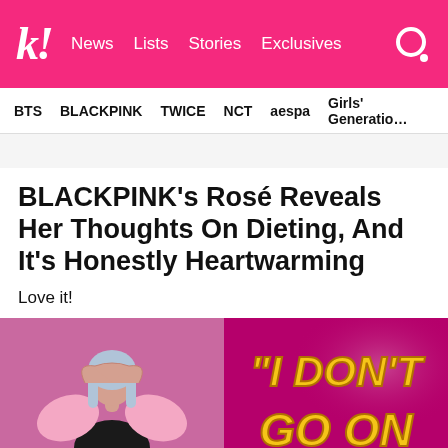k! News Lists Stories Exclusives
BTS  BLACKPINK  TWICE  NCT  aespa  Girls' Generation
BLACKPINK's Rosé Reveals Her Thoughts On Dieting, And It's Honestly Heartwarming
Love it!
[Figure (photo): Left: Rosé from BLACKPINK in a pink outfit against a pink background, raising arms. Right: Text graphic on pink background reading '"I DON'T GO ON' in bold yellow italic letters.]